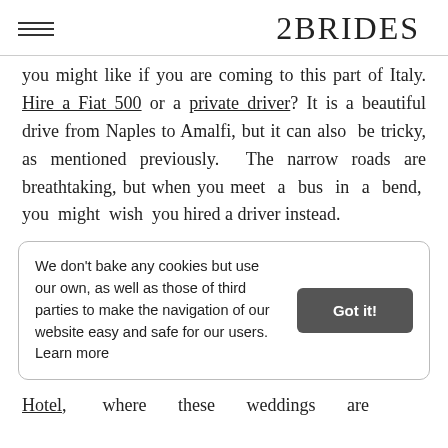2BRIDES
you might like if you are coming to this part of Italy. Hire a Fiat 500 or a private driver? It is a beautiful drive from Naples to Amalfi, but it can also be tricky, as mentioned previously. The narrow roads are breathtaking, but when you meet a bus in a bend, you might wish you hired a driver instead.
We don't bake any cookies but use our own, as well as those of third parties to make the navigation of our website easy and safe for our users. Learn more
Hotel, where these weddings are